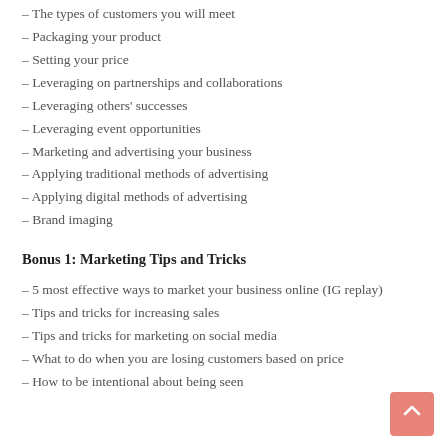– The types of customers you will meet
– Packaging your product
– Setting your price
– Leveraging on partnerships and collaborations
– Leveraging others' successes
– Leveraging event opportunities
– Marketing and advertising your business
– Applying traditional methods of advertising
– Applying digital methods of advertising
– Brand imaging
Bonus 1: Marketing Tips and Tricks
– 5 most effective ways to market your business online (IG replay)
– Tips and tricks for increasing sales
– Tips and tricks for marketing on social media
– What to do when you are losing customers based on price
– How to be intentional about being seen